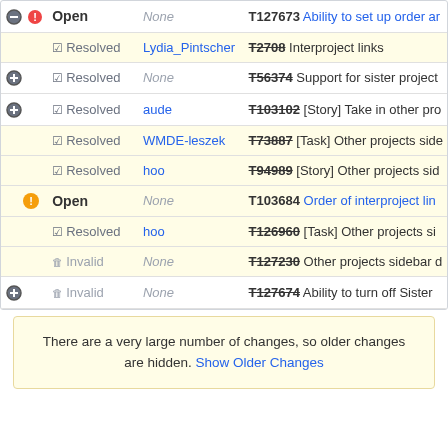|  | Status | Assignee | Task |
| --- | --- | --- | --- |
| ▼● | Open | None | T127673 Ability to set up order ar… |
|  | ✔ Resolved | Lydia_Pintscher | T2708 Interproject links |
| ▼ | ✔ Resolved | None | T56374 Support for sister project… |
| ▼ | ✔ Resolved | aude | T103102 [Story] Take in other pr… |
|  | ✔ Resolved | WMDE-leszek | T73887 [Task] Other projects sid… |
|  | ✔ Resolved | hoo | T94989 [Story] Other projects sid… |
|  | ! Open | None | T103684 Order of interproject lin… |
|  | ✔ Resolved | hoo | T126960 [Task] Other projects si… |
|  | 🗑 Invalid | None | T127230 Other projects sidebar d… |
| ▼ | 🗑 Invalid | None | T127674 Ability to turn off Sister… |
There are a very large number of changes, so older changes are hidden. Show Older Changes